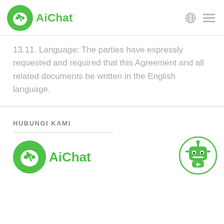AiChat
13.11. Language: The parties have expressly requested and required that this Agreement and all related documents be written in the English language.
HUBUNGI KAMI
[Figure (logo): AiChat logo in footer]